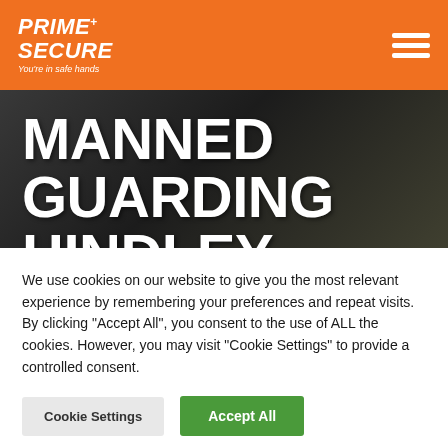PRIME+ SECURE — You're in safe hands
MANNED GUARDING HINDLEY
Trying To Find Manned Guarding services in Hindley?
We use cookies on our website to give you the most relevant experience by remembering your preferences and repeat visits. By clicking "Accept All", you consent to the use of ALL the cookies. However, you may visit "Cookie Settings" to provide a controlled consent.
Cookie Settings | Accept All